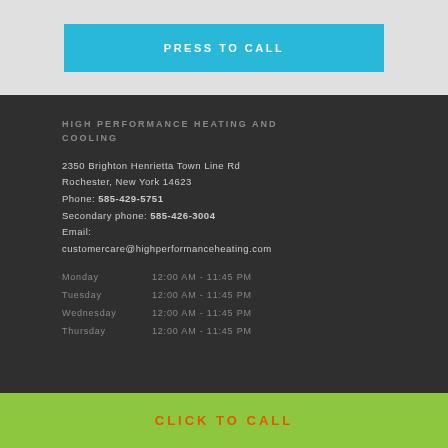PRESS TO CALL
HIGH PERFORMANCE HEATING AND COOLING
2350 Brighton Henrietta Town Line Rd
Rochester, New York 14623
Phone: 585-429-5751
Secondary phone: 585-426-3004
Email: customercare@highperformanceheating.com
Monday       12:00 AM - 11:45 PM
Tuesday      12:00 AM - 11:45 PM
Wednesday 12:00 AM - 11:45 PM
Thursday     12:00 AM - 11:45 PM
CLICK TO CALL